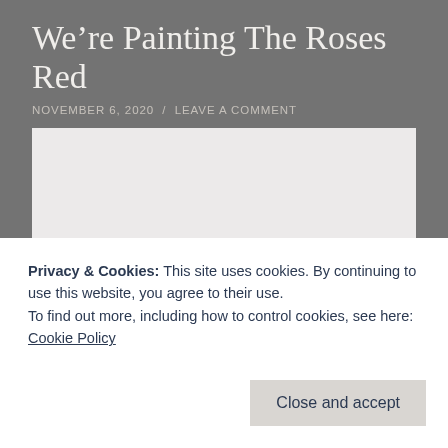We're Painting The Roses Red
NOVEMBER 6, 2020 / LEAVE A COMMENT
[Figure (photo): Light gray placeholder image area]
[Figure (photo): Partial photo strip showing decorative wooden/orange objects at bottom of page]
Privacy & Cookies: This site uses cookies. By continuing to use this website, you agree to their use.
To find out more, including how to control cookies, see here:
Cookie Policy
Close and accept